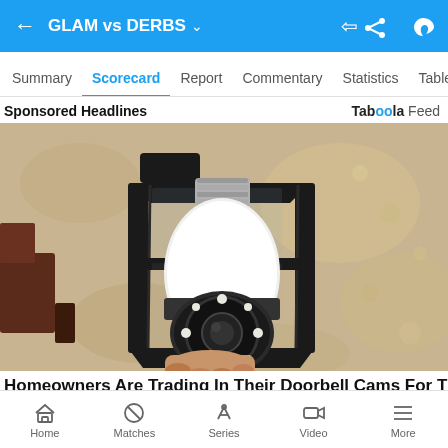GLAM vs DERBS
Summary  Scorecard  Report  Commentary  Statistics  Table
Sponsored Headlines  Taboola Feed
[Figure (photo): Security camera disguised as a light bulb being installed in an outdoor lantern wall fixture. The bulb has a camera lens with LED lights at the bottom. Background is a stucco/textured wall.]
Homeowners Are Trading In Their Doorbell Cams For This
Home  Matches  Series  Video  More